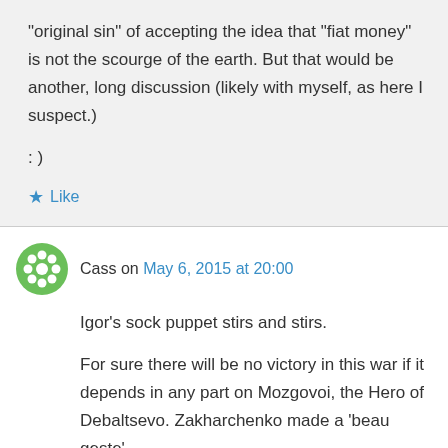“original sin” of accepting the idea that “fiat money” is not the scourge of the earth. But that would be another, long discussion (likely with myself, as here I suspect.)
: )
★ Like
Cass on May 6, 2015 at 20:00
Igor’s sock puppet stirs and stirs.
For sure there will be no victory in this war if it depends in any part on Mozgovoi, the Hero of Debaltsevo. Zakharchenko made a ‘beau geste’